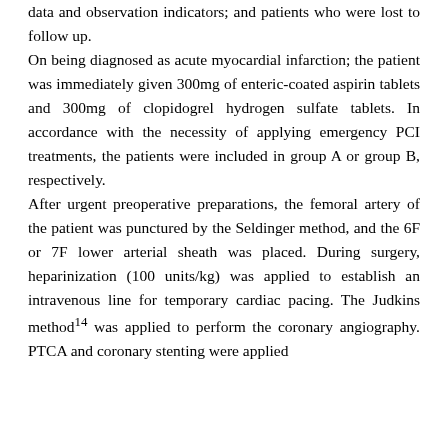data and observation indicators; and patients who were lost to follow up. On being diagnosed as acute myocardial infarction; the patient was immediately given 300mg of enteric-coated aspirin tablets and 300mg of clopidogrel hydrogen sulfate tablets. In accordance with the necessity of applying emergency PCI treatments, the patients were included in group A or group B, respectively. After urgent preoperative preparations, the femoral artery of the patient was punctured by the Seldinger method, and the 6F or 7F lower arterial sheath was placed. During surgery, heparinization (100 units/kg) was applied to establish an intravenous line for temporary cardiac pacing. The Judkins method¹⁴ was applied to perform the coronary angiography. PTCA and coronary stenting were applied